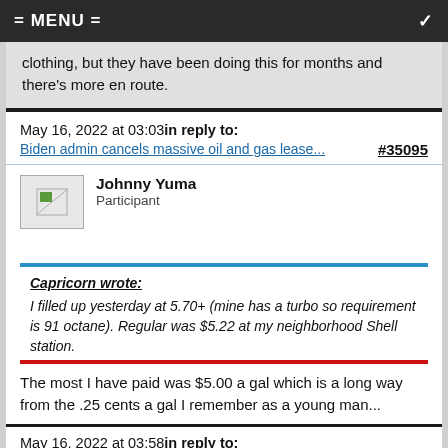= MENU =
clothing, but they have been doing this for months and there's more en route.
May 16, 2022 at 03:03in reply to:
Biden admin cancels massive oil and gas lease... #35095
Johnny Yuma
Participant
Capricorn wrote:
I filled up yesterday at 5.70+ (mine has a turbo so requirement is 91 octane). Regular was $5.22 at my neighborhood Shell station.
The most I have paid was $5.00 a gal which is a long way from the .25 cents a gal I remember as a young man...
May 16, 2022 at 03:58in reply to: